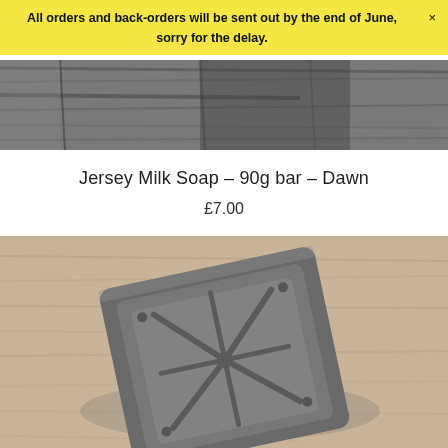All orders and back-orders will be sent out by the end of June, sorry for the delay.
[Figure (photo): Close-up photo of wooden planks with dark grey/charcoal tones serving as background]
Jersey Milk Soap – 90g bar – Dawn
£7.00
[Figure (photo): Black and white photo of a handmade ceramic or clay soap dish with spoke-like ridges, photographed on a light wooden surface]